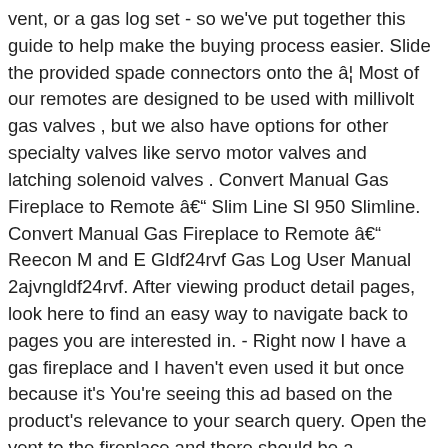vent, or a gas log set - so we've put together this guide to help make the buying process easier. Slide the provided spade connectors onto the â¦ Most of our remotes are designed to be used with millivolt gas valves , but we also have options for other specialty valves like servo motor valves and latching solenoid valves . Convert Manual Gas Fireplace to Remote â Slim Line Sl 950 Slimline. Convert Manual Gas Fireplace to Remote â Reecon M and E Gldf24rvf Gas Log User Manual 2ajvngldf24rvf. After viewing product detail pages, look here to find an easy way to navigate back to pages you are interested in. - Right now I have a gas fireplace and I haven't even used it but once because it's You're seeing this ad based on the product's relevance to your search query. Open the vent to the fireplace and there should be a connector spot where you can simply plug the receiver into the valve. But there are different approached to converting and a few things to consider first like the cleanliness and quality of the existing fireplace. Some brands offer the option and others do not. If you're looking to buy a fireplace or